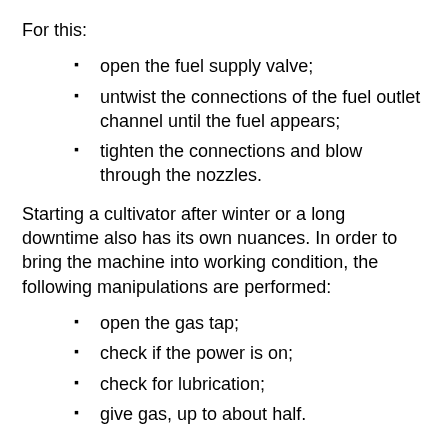For this:
open the fuel supply valve;
untwist the connections of the fuel outlet channel until the fuel appears;
tighten the connections and blow through the nozzles.
Starting a cultivator after winter or a long downtime also has its own nuances. In order to bring the machine into working condition, the following manipulations are performed:
open the gas tap;
check if the power is on;
check for lubrication;
give gas, up to about half.